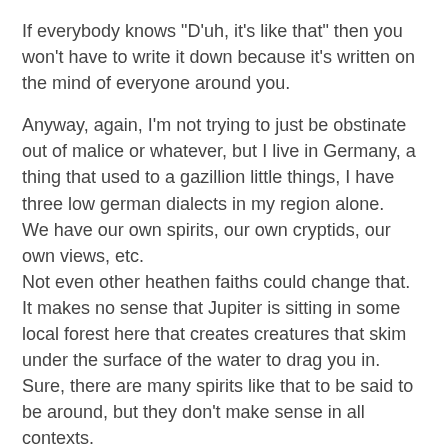If everybody knows "D'uh, it's like that" then you won't have to write it down because it's written on the mind of everyone around you.
Anyway, again, I'm not trying to just be obstinate out of malice or whatever, but I live in Germany, a thing that used to a gazillion little things, I have three low german dialects in my region alone.
We have our own spirits, our own cryptids, our own views, etc.
Not even other heathen faiths could change that.
It makes no sense that Jupiter is sitting in some local forest here that creates creatures that skim under the surface of the water to drag you in.
Sure, there are many spirits like that to be said to be around, but they don't make sense in all contexts.
But these little things condemn invading faiths to be eternally maintained while the local faiths survive on a shoestring and some bubblegum.
And contrary to popular belief, not everything is Christian with a viking coat.
On the contrary, everything has to have a Christian coat